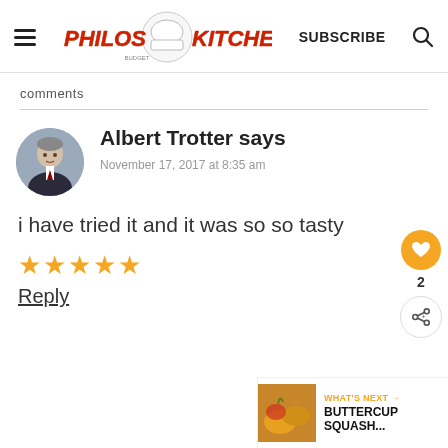Philos Kitchen — SUBSCRIBE
comments
Albert Trotter says
November 17, 2017 at 8:35 am
i have tried it and it was so so tasty
★★★★★
Reply
[Figure (other): What's Next banner showing Buttercup Squash thumbnail]
WHAT'S NEXT → BUTTERCUP SQUASH...